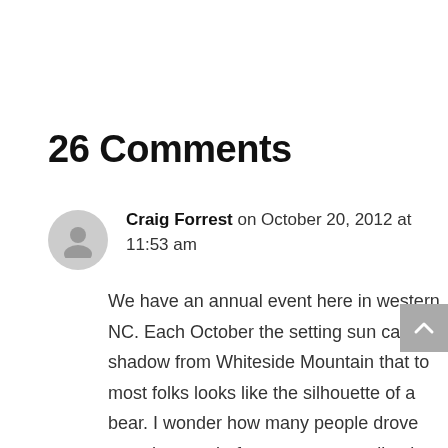26 Comments
Craig Forrest on October 20, 2012 at 11:53 am
We have an annual event here in western NC. Each October the setting sun casts a shadow from Whiteside Mountain that to most folks looks like the silhouette of a bear. I wonder how many people drove past the spot before someone realized the effect.